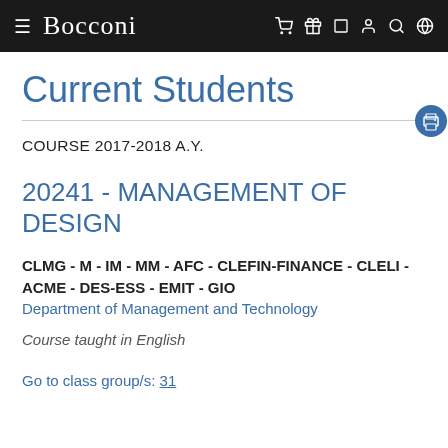≡ Bocconi
Current Students
COURSE 2017-2018 A.Y.
20241 - MANAGEMENT OF DESIGN
CLMG - M - IM - MM - AFC - CLEFIN-FINANCE - CLELI - ACME - DES-ESS - EMIT - GIO
Department of Management and Technology
Course taught in English
Go to class group/s: 31